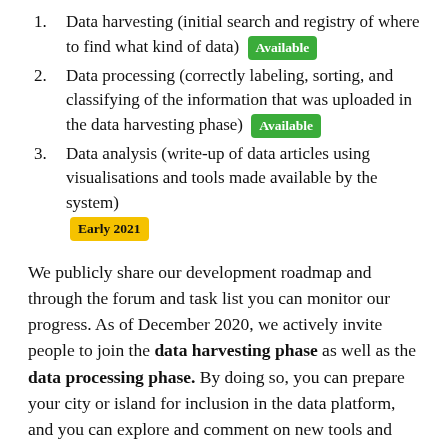Data harvesting (initial search and registry of where to find what kind of data) [Available]
Data processing (correctly labeling, sorting, and classifying of the information that was uploaded in the data harvesting phase) [Available]
Data analysis (write-up of data articles using visualisations and tools made available by the system) [Early 2021]
We publicly share our development roadmap and through the forum and task list you can monitor our progress. As of December 2020, we actively invite people to join the data harvesting phase as well as the data processing phase. By doing so, you can prepare your city or island for inclusion in the data platform, and you can explore and comment on new tools and features as they are being developed. Online courses are available for further guidance.
We now have implemented a new data structure, which involves a wider variety of information than we had before